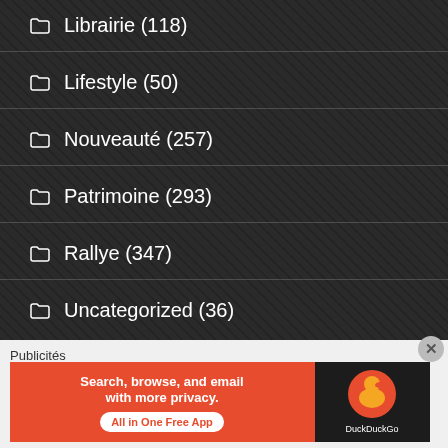Librairie (118)
Lifestyle (50)
Nouveauté (257)
Patrimoine (293)
Rallye (347)
Uncategorized (36)
Publicités
[Figure (screenshot): DuckDuckGo advertisement banner: 'Search, browse, and email with more privacy. All in One Free App' on orange background with DuckDuckGo logo on dark background]